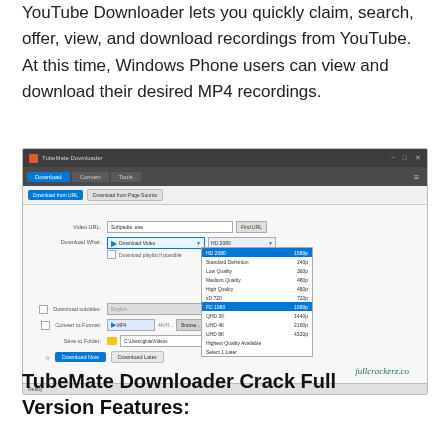YouTube Downloader lets you quickly claim, search, offer, view, and download recordings from YouTube. At this time, Windows Phone users can view and download their desired MP4 recordings.
[Figure (screenshot): Screenshot of TubeMate Downloader application showing the Download tab with a video URL field, Download What dropdown set to Download Video, a quality dropdown menu open showing options: HD 2080 1080p (highlighted), Standard Definition 240p, Low Quality 360p, Medium Quality 480p, High Quality 480p, HD 720 720p, FD 1080 1080p (selected/highlighted in blue), QHD 2K 1440p, UHD 4K 2160p, UHD 8K 4320p, Highest Quality Available, Select 1 Later. Also shows Download Subtitles, Convert to Format, Save to Folder fields, and Download Now / Download Later buttons. Watermark: fullcrackerz.co]
TubeMate Downloader Crack Full Version Features: